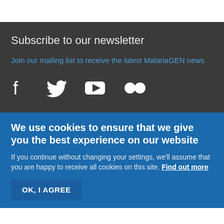Subscribe to our newsletter
Join our mailing list to receive the latest MalariaGEN news
[Figure (other): Social media icons: Facebook, Twitter, YouTube, Flickr]
We use cookies to ensure that we give you the best experience on our website
If you continue without changing your settings, we'll assume that you are happy to receive all cookies on this site. Find out more
OK, I AGREE